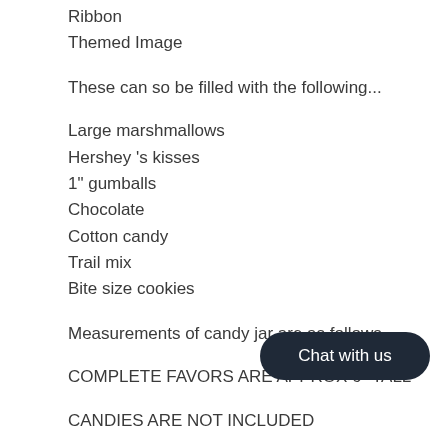Ribbon
Themed Image
These can so be filled with the following...
Large marshmallows
Hershey 's kisses
1" gumballs
Chocolate
Cotton candy
Trail mix
Bite size cookies
Measurements of candy jar are as follows...
COMPLETE FAVORS ARE APPROX 6" TALL
CANDIES ARE NOT INCLUDED
Themed images are attached to the lid! These make for great jewelry boxes after the treats are gone. They can